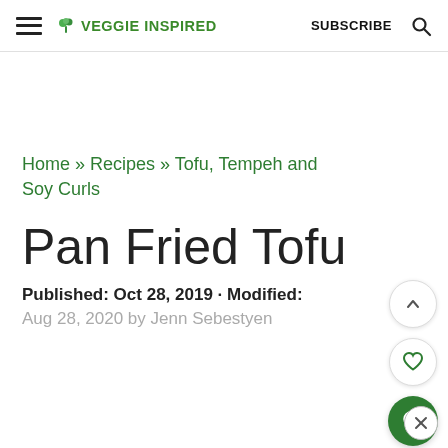≡ 🥦 VEGGIE INSPIRED   SUBSCRIBE   🔍
Home » Recipes » Tofu, Tempeh and Soy Curls
Pan Fried Tofu
Published: Oct 28, 2019 · Modified:
Aug 28, 2020 by Jenn Sebestyen